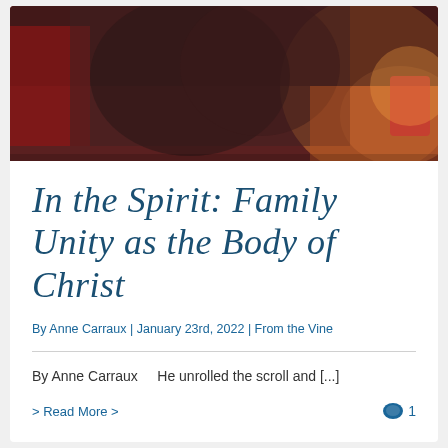[Figure (photo): Hero image showing people in cozy winter sweaters sitting together, with warm holiday lighting and a red accent visible on the right side.]
In the Spirit: Family Unity as the Body of Christ
By Anne Carraux | January 23rd, 2022 | From the Vine
By Anne Carraux    He unrolled the scroll and [...]
> Read More >
1